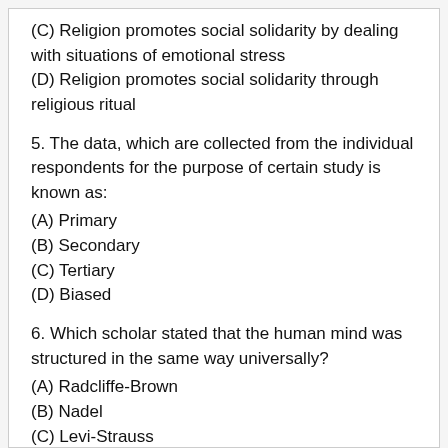(C) Religion promotes social solidarity by dealing with situations of emotional stress
(D) Religion promotes social solidarity through religious ritual
5. The data, which are collected from the individual respondents for the purpose of certain study is known as:
(A) Primary
(B) Secondary
(C) Tertiary
(D) Biased
6. Which scholar stated that the human mind was structured in the same way universally?
(A) Radcliffe-Brown
(B) Nadel
(C) Levi-Strauss
(D) Karl Marx